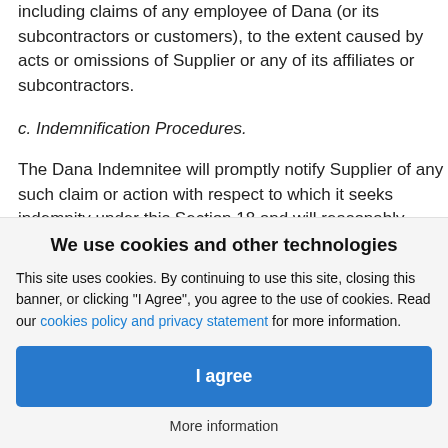including claims of any employee of Dana (or its subcontractors or customers), to the extent caused by acts or omissions of Supplier or any of its affiliates or subcontractors.
c. Indemnification Procedures.
The Dana Indemnitee will promptly notify Supplier of any such claim or action with respect to which it seeks indemnity under this Section 18 and will reasonably cooperate with Supplier in the defense of such claim or action, at the Supplier's expense.
We use cookies and other technologies
This site uses cookies. By continuing to use this site, closing this banner, or clicking "I Agree", you agree to the use of cookies. Read our cookies policy and privacy statement for more information.
I agree
More information